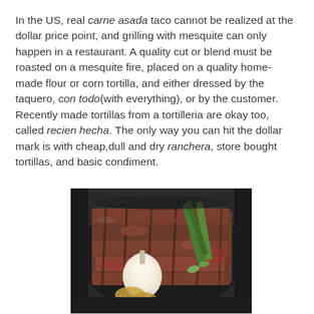In the US, real carne asada taco cannot be realized at the dollar price point, and grilling with mesquite can only happen in a restaurant. A quality cut or blend must be roasted on a mesquite fire, placed on a quality home-made flour or corn tortilla, and either dressed by the taquero, con todo(with everything), or by the customer. Recently made tortillas from a tortilleria are okay too, called recien hecha. The only way you can hit the dollar mark is with cheap,dull and dry ranchera, store bought tortillas, and basic condiment.
[Figure (photo): Photo of grilled carne asada meat sliced on a dark plate, with a roasted onion and grilled green onions/scallions alongside the beef.]